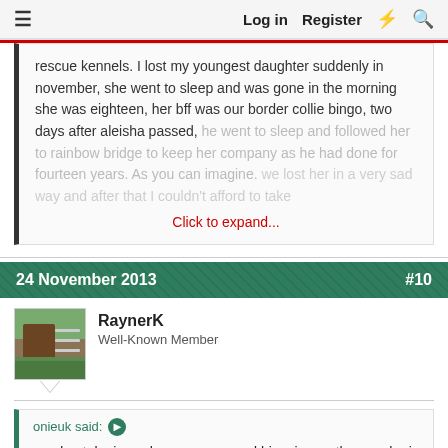Log in  Register
rescue kennels. I lost my youngest daughter suddenly in november, she went to sleep and was gone in the morning she was eighteen, her bff was our border collie bingo, two days after aleisha passed, he went to sleep and followed her to rainbow bridge to keep her company as he had done for fourteen years. As you can imagine. Click to expand...
24 November 2013  #10
RaynerK
Well-Known Member
onieuk said: ▶
my dog toby is my hero, we rescued him six months ago, he is two and a belgian shep cross we think, he has had a tough start in life, he was physically and mentally abused then spent a year in a rescue kennels. I lost my youngest daughter suddenly in november,